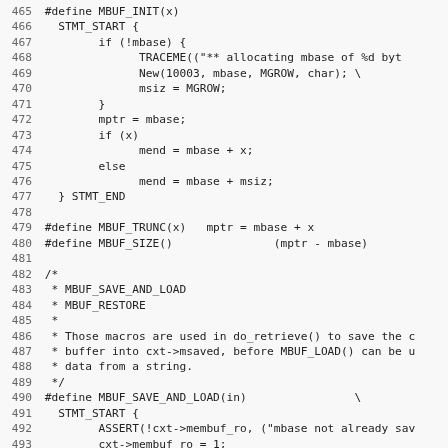[Figure (other): Source code listing showing C preprocessor macros for memory buffer management (MBUF_INIT, MBUF_TRUNC, MBUF_SIZE, MBUF_SAVE_AND_LOAD, MBUF_RESTORE), lines 465-497]